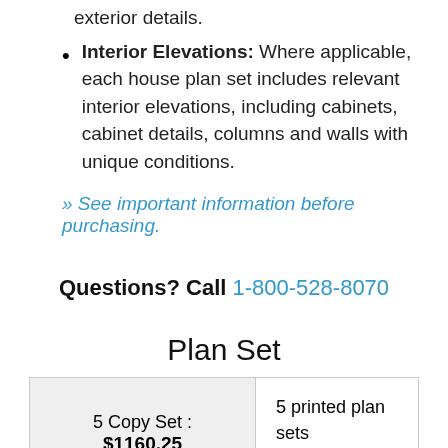exterior details.
Interior Elevations: Where applicable, each house plan set includes relevant interior elevations, including cabinets, cabinet details, columns and walls with unique conditions.
» See important information before purchasing.
Questions? Call 1-800-528-8070
Plan Set
| 5 Copy Set : $1160.25 | 5 printed plan sets mailed to you. |
|  | PDF plan sets are best for fast |